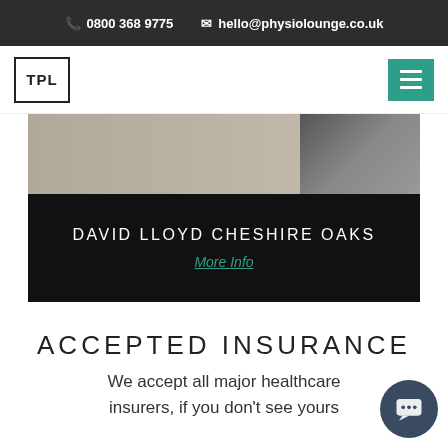0800 368 9775  hello@physiolounge.co.uk
[Figure (logo): TPL logo in black bordered box]
[Figure (screenshot): Navigation hamburger menu button in teal/green]
[Figure (photo): Hero image showing David Lloyd Cheshire Oaks location with dark overlay panel]
DAVID LLOYD CHESHIRE OAKS
More Info
ACCEPTED INSURANCE
We accept all major healthcare insurers, if you don't see yours